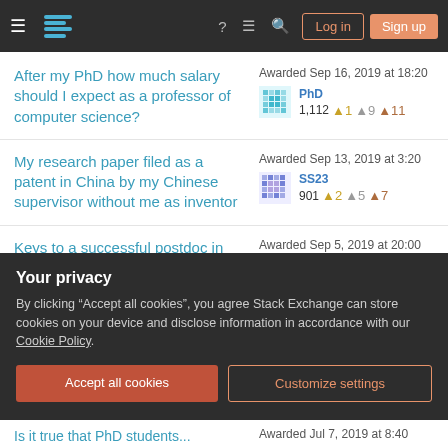Stack Exchange navigation bar with Log in and Sign up buttons
After my PhD how much salary should I expect as a professor of computer science?
Awarded Sep 16, 2019 at 18:20 PhD 1,112 1 9 11
My research paper filed as a patent in China by my Chinese supervisor without me as inventor
Awarded Sep 13, 2019 at 3:20 SS23 901 2 5 7
Keys to a successful postdoc in mathematics
Awarded Sep 5, 2019 at 20:00
Your privacy
By clicking "Accept all cookies", you agree Stack Exchange can store cookies on your device and disclose information in accordance with our Cookie Policy.
Accept all cookies
Customize settings
Is it true that PhD students...   Awarded Jul 7, 2019 at 8:40